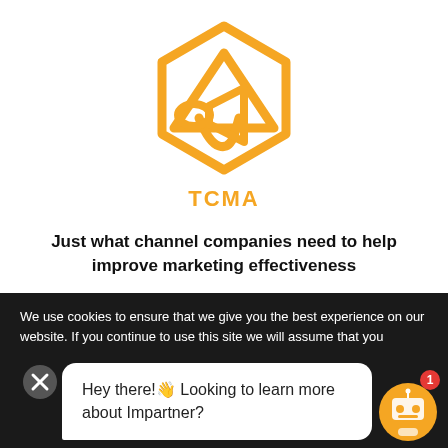[Figure (logo): TCMA orange hexagon with megaphone/speaker icon logo]
TCMA
Just what channel companies need to help improve marketing effectiveness
Guided
Implementation
[Figure (illustration): Orange circle with checkmark]
We use cookies to ensure that we give you the best experience on our website. If you continue to use this site we will assume that you
[Figure (illustration): Close/X button circle]
Hey there!👋 Looking to learn more about Impartner?
[Figure (illustration): Chat bot avatar with orange color and badge showing 1]